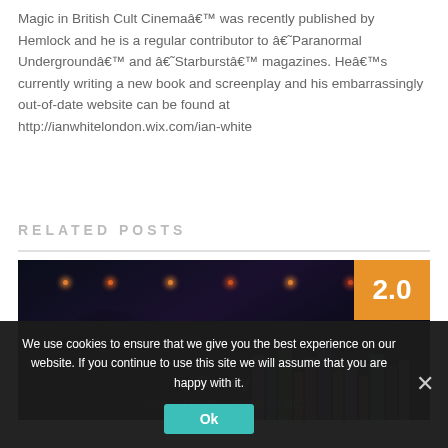Magic in British Cult Cinemaâ€™ was recently published by Hemlock and he is a regular contributor to â€˜Paranormal Undergroundâ€™ and â€˜Starburstâ€™ magazines. Heâ€™s currently writing a new book and screenplay and his embarrassingly out-of-date website can be found at http://ianwhitelondon.wix.com/ian-white
RELATED POSTS
[Figure (photo): Dark atmospheric photo showing a person from behind with bookshelves and string lights, with an orange rating badge showing 2.0 in the top right corner]
We use cookies to ensure that we give you the best experience on our website. If you continue to use this site we will assume that you are happy with it.